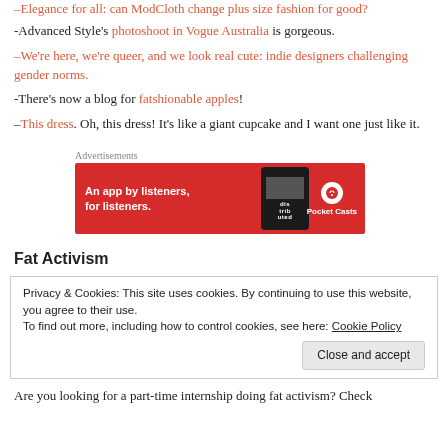–Elegance for all: can ModCloth change plus size fashion for good?
-Advanced Style's photoshoot in Vogue Australia is gorgeous.
–We're here, we're queer, and we look real cute: indie designers challenging gender norms.
-There's now a blog for fatshionable apples!
–This dress. Oh, this dress! It's like a giant cupcake and I want one just like it.
[Figure (screenshot): Pocket Casts advertisement banner: red background with text 'An app by listeners, for listeners.' and Pocket Casts logo, with a smartphone image showing 'Distributed' text]
Fat Activism
Privacy & Cookies: This site uses cookies. By continuing to use this website, you agree to their use.
To find out more, including how to control cookies, see here: Cookie Policy
Close and accept
Are you looking for a part-time internship doing fat activism? Check